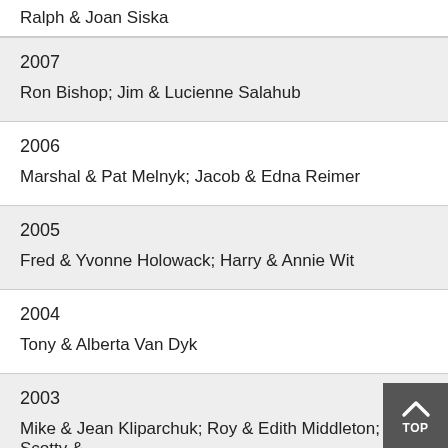Ralph & Joan Siska
2007
Ron Bishop; Jim & Lucienne Salahub
2006
Marshal & Pat Melnyk; Jacob & Edna Reimer
2005
Fred & Yvonne Holowack; Harry & Annie Wit
2004
Tony & Alberta Van Dyk
2003
Mike & Jean Kliparchuk; Roy & Edith Middleton; Scotty & Murri Spence